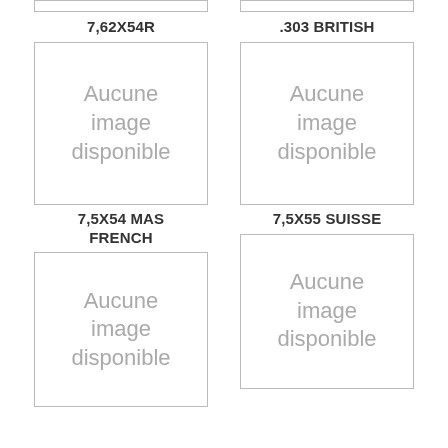[Figure (other): Placeholder box top left (partial, cut off at top)]
[Figure (other): Placeholder box top right (partial, cut off at top)]
7,62X54R
.303 BRITISH
[Figure (other): Aucune image disponible placeholder box left]
[Figure (other): Aucune image disponible placeholder box right]
7,5X54 MAS FRENCH
7,5X55 SUISSE
[Figure (other): Aucune image disponible placeholder box lower left]
[Figure (other): Aucune image disponible placeholder box lower right]